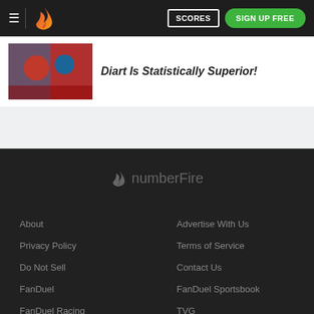≡ | 🔥 numberFire  SCORES  SIGN UP FREE
Diart Is Statistically Superior!
[Figure (photo): Sports photo thumbnail showing athletes in red and blue uniforms]
[Figure (logo): numberFire flame and text logo in dark gray on dark background]
About
Advertise With Us
Privacy Policy
Terms of Service
Do Not Sell
Contact Us
FanDuel
FanDuel Sportsbook
FanDuel Racing
TVG